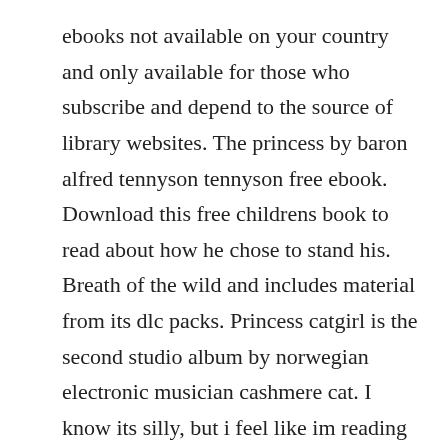ebooks not available on your country and only available for those who subscribe and depend to the source of library websites. The princess by baron alfred tennyson tennyson free ebook. Download this free childrens book to read about how he chose to stand his. Breath of the wild and includes material from its dlc packs. Princess catgirl is the second studio album by norwegian electronic musician cashmere cat. I know its silly, but i feel like im reading my kids a commercial. The classic book, the reluctant dragon, by kenneth grahame.